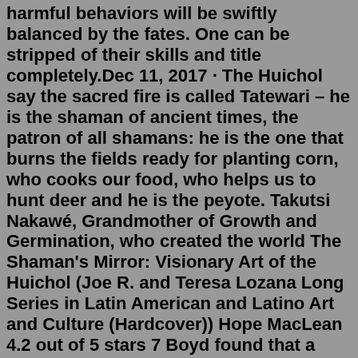harmful behaviors will be swiftly balanced by the fates. One can be stripped of their skills and title completely.Dec 11, 2017 · The Huichol say the sacred fire is called Tatewari – he is the shaman of ancient times, the patron of all shamans: he is the one that burns the fields ready for planting corn, who cooks our food, who helps us to hunt deer and he is the peyote. Takutsi Nakawé, Grandmother of Growth and Germination, who created the world The Shaman's Mirror: Visionary Art of the Huichol (Joe R. and Teresa Lozana Long Series in Latin American and Latino Art and Culture (Hardcover)) Hope MacLean 4.2 out of 5 stars 7 Boyd found that a curious motif she identified in the White Shaman mural, black-tipped deer antlers, also occurred in the art of the Huichol, a people who live in isolation in the mountains of ...Visions of a Huichol Shaman Peter T. Furst. 120 pages | 7 x 10 | 68 color illus. Paper 2007 | ISBN 9781931707978 | $19.95a | Outside the Americas £14.99 Distributed for the University of Pennsylvania Museum of Archaeology and Anthropology Dreams